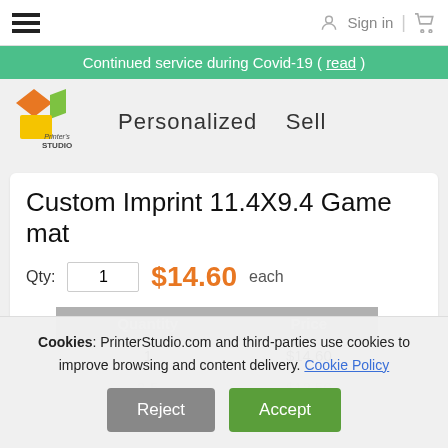Sign in | [cart icon]
Continued service during Covid-19 ( read )
[Figure (logo): Printer's Studio logo with orange, green and yellow shapes]
Personalized   Sell
Custom Imprint 11.4X9.4 Game mat
Qty: 1   $14.60 each
| Quantity | Price |
| --- | --- |
| 1 | $14.60 |
| 3-5 | $12.50 |
| 6-9 | $10.70 |
| 10-14 | $9.10 |
| 15-24 | $7.80 |
| 25-49 | $6.70 |
Cookies: PrinterStudio.com and third-parties use cookies to improve browsing and content delivery. Cookie Policy
Reject   Accept